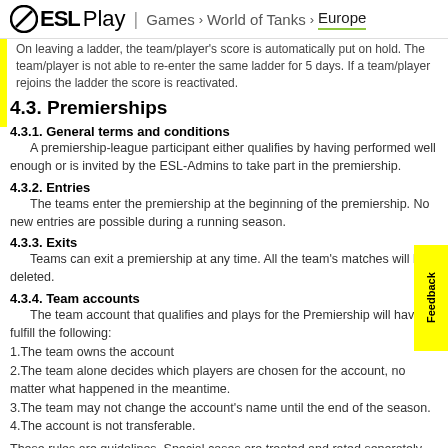ESL Play | Games > World of Tanks > Europe
On leaving a ladder, the team/player's score is automatically put on hold. The team/player is not able to re-enter the same ladder for 5 days. If a team/player rejoins the ladder the score is reactivated.
4.3.  Premierships
4.3.1.  General terms and conditions
A premiership-league participant either qualifies by having performed well enough or is invited by the ESL-Admins to take part in the premiership.
4.3.2.  Entries
The teams enter the premiership at the beginning of the premiership. No new entries are possible during a running season.
4.3.3.  Exits
Teams can exit a premiership at any time. All the team's matches will be deleted.
4.3.4.  Team accounts
The team account that qualifies and plays for the Premiership will have to fulfill the following:
1.The team owns the account
2.The team alone decides which players are chosen for the account, no matter what happened in the meantime.
3.The team may not change the account's name until the end of the season.
4.The account is not transferable.
These rules are guidelines. Special cases are treated and rated seperately by the admins.
4.4.  Cups and other events